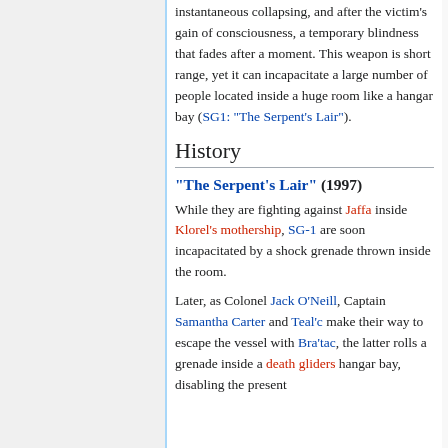instantaneous collapsing, and after the victim's gain of consciousness, a temporary blindness that fades after a moment. This weapon is short range, yet it can incapacitate a large number of people located inside a huge room like a hangar bay (SG1: "The Serpent's Lair").
History
"The Serpent's Lair" (1997)
While they are fighting against Jaffa inside Klorel's mothership, SG-1 are soon incapacitated by a shock grenade thrown inside the room.
Later, as Colonel Jack O'Neill, Captain Samantha Carter and Teal'c make their way to escape the vessel with Bra'tac, the latter rolls a grenade inside a death gliders hangar bay, disabling the present